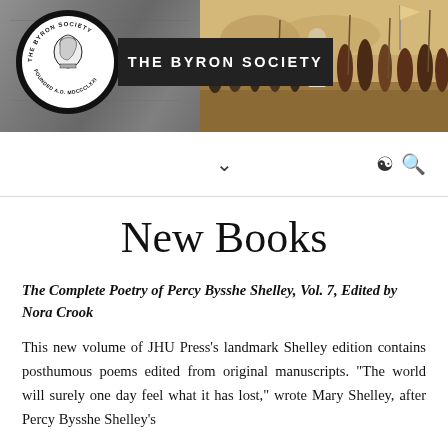[Figure (logo): The Byron Society header banner with circular logo on left grey textured background and historical painting on right showing figure addressing crowd, with dark banner reading THE BYRON SOCIETY]
THE BYRON SOCIETY
New Books
The Complete Poetry of Percy Bysshe Shelley, Vol. 7, Edited by Nora Crook
This new volume of JHU Press's landmark Shelley edition contains posthumous poems edited from original manuscripts. "The world will surely one day feel what it has lost," wrote Mary Shelley, after Percy Bysshe Shelley's